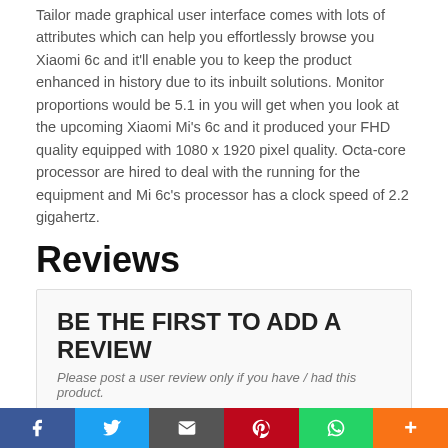Tailor made graphical user interface comes with lots of attributes which can help you effortlessly browse you Xiaomi 6c and it'll enable you to keep the product enhanced in history due to its inbuilt solutions. Monitor proportions would be 5.1 in you will get when you look at the upcoming Xiaomi Mi's 6c and it produced your FHD quality equipped with 1080 x 1920 pixel quality. Octa-core processor are hired to deal with the running for the equipment and Mi 6c's processor has a clock speed of 2.2 gigahertz.
Reviews
BE THE FIRST TO ADD A REVIEW
Please post a user review only if you have / had this product.
Your Name *